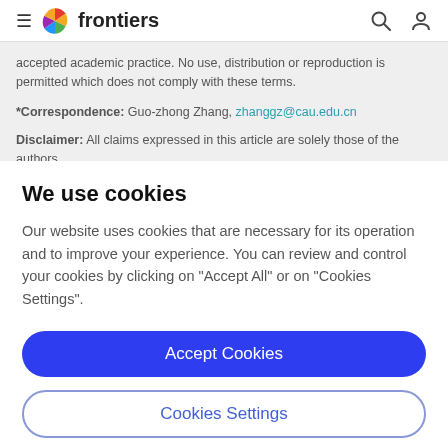frontiers
accepted academic practice. No use, distribution or reproduction is permitted which does not comply with these terms.
*Correspondence: Guo-zhong Zhang, zhanggz@cau.edu.cn
Disclaimer: All claims expressed in this article are solely those of the authors and do not necessarily represent those of their affiliated organizations.
We use cookies
Our website uses cookies that are necessary for its operation and to improve your experience. You can review and control your cookies by clicking on "Accept All" or on "Cookies Settings".
Accept Cookies
Cookies Settings